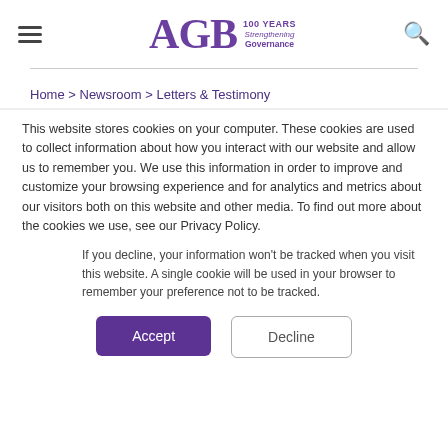AGB 100 YEARS Strengthening Governance
Home > Newsroom > Letters & Testimony
AGB's 2021 Public Policy Priorities
This website stores cookies on your computer. These cookies are used to collect information about how you interact with our website and allow us to remember you. We use this information in order to improve and customize your browsing experience and for analytics and metrics about our visitors both on this website and other media. To find out more about the cookies we use, see our Privacy Policy.
If you decline, your information won't be tracked when you visit this website. A single cookie will be used in your browser to remember your preference not to be tracked.
Accept
Decline